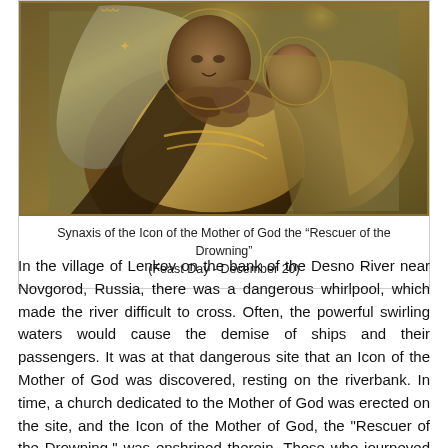[Figure (photo): Orthodox icon painting showing the Mother of God (Virgin Mary) with Christ child, gold and olive tones, religious iconographic style]
Synaxis of the Icon of the Mother of God the “Rescuer of the Drowning” (Feast Day - December 20)
In the village of Lenkov on the bank of the Desno River near Novgorod, Russia, there was a dangerous whirlpool, which made the river difficult to cross. Often, the powerful swirling waters would cause the demise of ships and their passengers. It was at that dangerous site that an Icon of the Mother of God was discovered, resting on the riverbank. In time, a church dedicated to the Mother of God was erected on the site, and the Icon of the Mother of God, the "Rescuer of the Drowning," was enshrined therein. Those who journeyed along the Desno River customarily stopped at